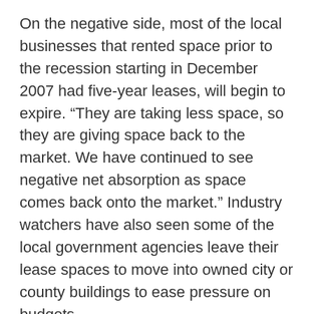On the negative side, most of the local businesses that rented space prior to the recession starting in December 2007 had five-year leases, will begin to expire. “They are taking less space, so they are giving space back to the market. We have continued to see negative net absorption as space comes back onto the market.” Industry watchers have also seen some of the local government agencies leave their lease spaces to move into owned city or county buildings to ease pressure on budgets.
On the federal side, Ruffin notes, “we have seen a little bit of activity. The federal government is coming in with some agencies leasing either build-to-suits or existing buildings to house clients.”